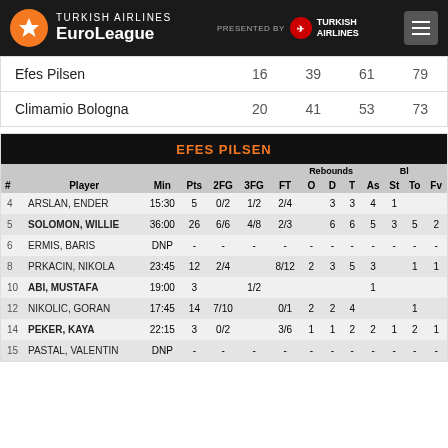Turkish Airlines EuroLeague
| Team | Q1 | Q2 | Q3 | Q4 |
| --- | --- | --- | --- | --- |
| Efes Pilsen | 16 | 39 | 61 | 79 |
| Climamio Bologna | 20 | 41 | 53 | 73 |
| # | Player | Min | Pts | 2FG | 3FG | FT | O | D | T | As | St | To | Fv |
| --- | --- | --- | --- | --- | --- | --- | --- | --- | --- | --- | --- | --- | --- |
| 4 | ARSLAN, ENDER | 15:30 | 5 | 0/2 | 1/2 | 2/4 |  | 3 | 3 | 4 | 1 |  |  |
| 5 | SOLOMON, WILLIE | 36:00 | 26 | 6/6 | 4/8 | 2/3 |  | 6 | 6 | 5 | 3 | 5 | 2 |
| 6 | ERMIS, BARIS | DNP | - | - | - | - | - | - | - | - | - | - |  |
| 8 | PRKACIN, NIKOLA | 23:45 | 12 | 2/4 |  | 8/12 | 2 | 3 | 5 | 3 |  | 1 | 1 |
| 10 | ABI, MUSTAFA | 19:00 | 3 |  | 1/2 |  |  |  |  | 1 |  |  |  |
| 12 | NIKOLIC, GORAN | 17:45 | 14 | 7/10 |  | 0/1 | 2 | 2 | 4 |  |  | 1 |  |
| 14 | PEKER, KAYA | 22:15 | 3 | 0/2 |  | 3/6 | 1 | 1 | 2 | 2 | 1 | 2 | 1 |
| 15 | PASTAL, VALENTIN | DNP | - | - | - | - | - | - | - | - | - | - |  |